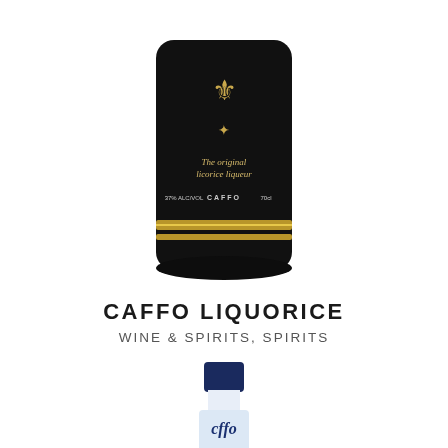[Figure (photo): Bottom portion of a dark black bottle with gold trim band. Label reads 'The original licorice liqueur' and 'CAFFO' with ABV and volume text. Gold eagle emblem visible on bottle.]
CAFFO LIQUORICE
WINE & SPIRITS, SPIRITS
[Figure (photo): A clear glass bottle of Sambuca with a dark navy blue cap, cursive 'Caffo' script label in blue and white, small Italian flag detail, and a blue oval label at the bottom reading 'SAMBUCA'.]